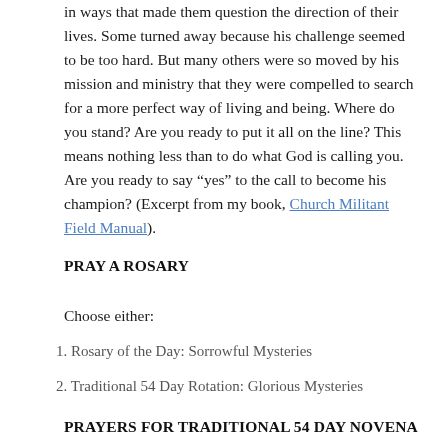in ways that made them question the direction of their lives. Some turned away because his challenge seemed to be too hard. But many others were so moved by his mission and ministry that they were compelled to search for a more perfect way of living and being. Where do you stand? Are you ready to put it all on the line? This means nothing less than to do what God is calling you. Are you ready to say “yes” to the call to become his champion? (Excerpt from my book, Church Militant Field Manual).
PRAY A ROSARY
Choose either:
1. Rosary of the Day: Sorrowful Mysteries
2. Traditional 54 Day Rotation: Glorious Mysteries
PRAYERS FOR TRADITIONAL 54 DAY NOVENA